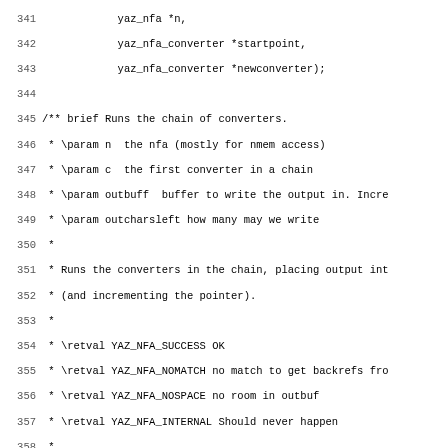[Figure (other): Source code listing showing C function declarations and Doxygen comments for yaz_nfa converter and yaz_nfa_run_converters functions, lines 341-372]